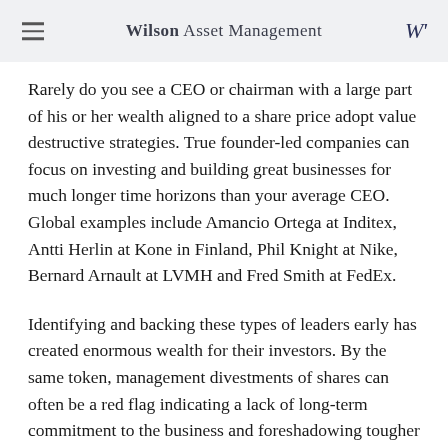Wilson Asset Management
Rarely do you see a CEO or chairman with a large part of his or her wealth aligned to a share price adopt value destructive strategies. True founder-led companies can focus on investing and building great businesses for much longer time horizons than your average CEO. Global examples include Amancio Ortega at Inditex, Antti Herlin at Kone in Finland, Phil Knight at Nike, Bernard Arnault at LVMH and Fred Smith at FedEx.
Identifying and backing these types of leaders early has created enormous wealth for their investors. By the same token, management divestments of shares can often be a red flag indicating a lack of long-term commitment to the business and foreshadowing tougher times ahead.